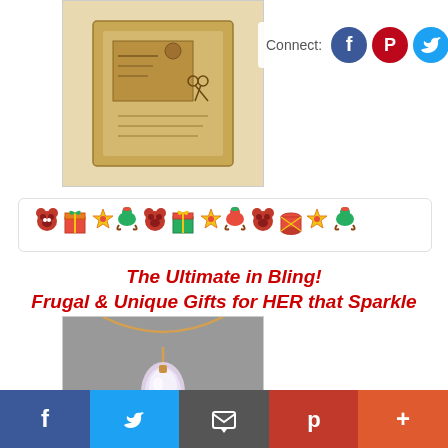[Figure (photo): Product photo of vintage postcard/gift box item]
[Figure (infographic): Connect social media buttons: Facebook, Pinterest, Twitter]
[Figure (illustration): Christmas decorative divider strip with toy icons: teddy bears, gift boxes, stars, rocking horses]
The Ultimate in Bling!
Frugal & Unique Gifts for HER that Sparkle
[Figure (photo): Close-up photo of a gold chain necklace with a large crystal/diamond teardrop pendant]
[Figure (infographic): Bottom social sharing bar with Facebook, Twitter, Email, Pinterest, and More (+) buttons]